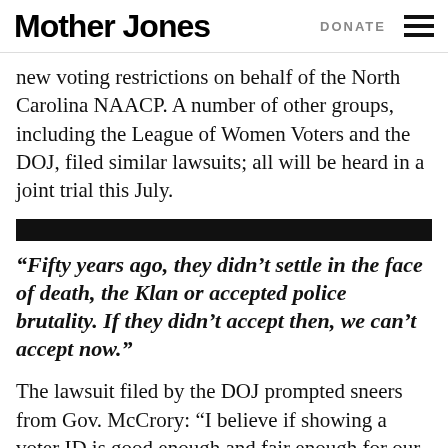Mother Jones | DONATE
new voting restrictions on behalf of the North Carolina NAACP. A number of other groups, including the League of Women Voters and the DOJ, filed similar lawsuits; all will be heard in a joint trial this July.
“Fifty years ago, they didn’t settle in the face of death, the Klan or accepted police brutality. If they didn’t accept then, we can’t accept now.”
The lawsuit filed by the DOJ prompted sneers from Gov. McCrory: “I believe if showing a voter ID is good enough and fair enough for our own president